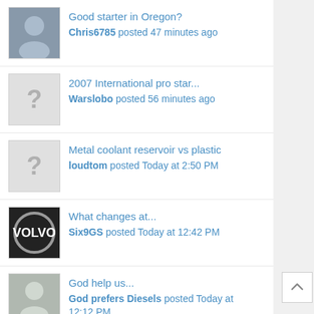Good starter in Oregon? Chris6785 posted 47 minutes ago
2007 International pro star... Warslobo posted 56 minutes ago
Metal coolant reservoir vs plastic loudtom posted Today at 2:50 PM
What changes at... Six9GS posted Today at 12:42 PM
God help us... God prefers Diesels posted Today at 12:12 PM
Not a truck friendly town Old Man posted Today at 11:32 AM
Auto Hauling equipment DGTRUCKINGSUPPLY posted Today at 10:55 AM
How to gain bulk loads directly... d_s_101 posted Today at 10:49 AM
Kenworth isx12 oil pressure... mixingconcrete posted Today at 10:25